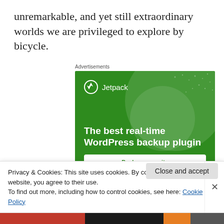unremarkable, and yet still extraordinary worlds we are privileged to explore by bicycle.
Advertisements
[Figure (illustration): Jetpack WordPress plugin advertisement banner with green background, Jetpack logo, and text 'The best real-time WordPress backup plugin' with a 'Backup your site' button.]
Privacy & Cookies: This site uses cookies. By continuing to use this website, you agree to their use.
To find out more, including how to control cookies, see here: Cookie Policy